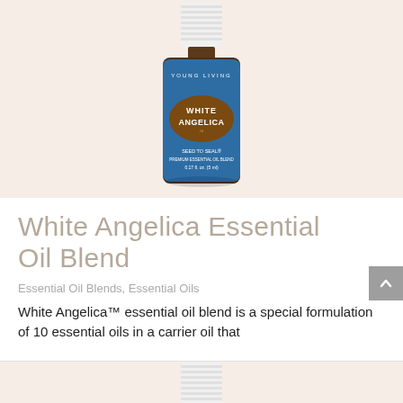[Figure (photo): Young Living White Angelica essential oil blend bottle (5ml) with blue label and brown oval accent, shown against a light beige/cream background. Label reads: YOUNG LIVING, WHITE ANGELICA, SEED TO SEAL PREMIUM ESSENTIAL OIL BLEND, 0.17 fl. oz. (5 ml)]
White Angelica Essential Oil Blend
Essential Oil Blends, Essential Oils
White Angelica™ essential oil blend is a special formulation of 10 essential oils in a carrier oil that
[Figure (photo): Bottom portion of a Young Living essential oil bottle, partially visible, against beige background]